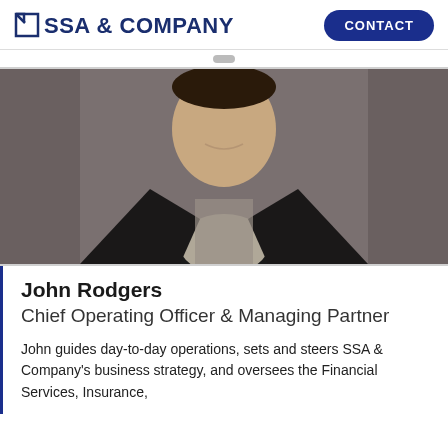SSA & COMPANY
[Figure (photo): Professional headshot of John Rodgers, a man in a dark blazer and patterned shirt, against a gray background]
John Rodgers
Chief Operating Officer & Managing Partner
John guides day-to-day operations, sets and steers SSA & Company's business strategy, and oversees the Financial Services, Insurance,